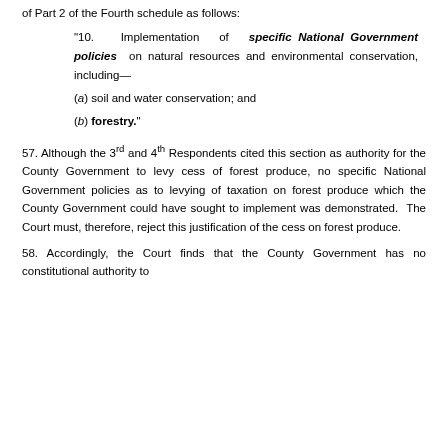of Part 2 of the Fourth schedule as follows:
“10. Implementation of specific National Government policies on natural resources and environmental conservation, including—
(a) soil and water conservation; and
(b) forestry.”
57. Although the 3rd and 4th Respondents cited this section as authority for the County Government to levy cess of forest produce, no specific National Government policies as to levying of taxation on forest produce which the County Government could have sought to implement was demonstrated. The Court must, therefore, reject this justification of the cess on forest produce.
58. Accordingly, the Court finds that the County Government has no constitutional authority to